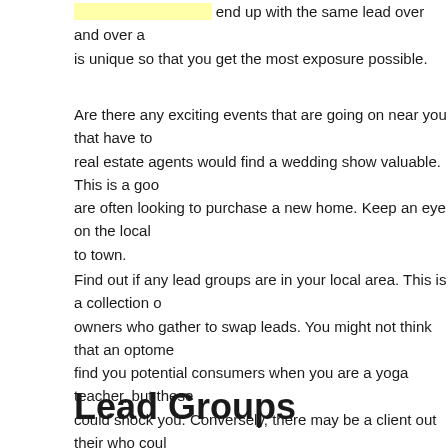end up with the same lead over and over again. Make sure that each lead is unique so that you get the most exposure possible.
Are there any exciting events that are going on near you that have to do with your business? For instance, real estate agents would find a wedding show valuable. This is a good venue for promotion, as newlyweds are often looking to purchase a new home. Keep an eye on the local papers to see what is coming to town.
Find out if any lead groups are in your local area. This is a collection of business owners who gather to swap leads. You might not think that an optometrist could find you potential consumers when you are a yoga teacher, but these meetings could shock you. Conversely, there may be a client out their who could use a lead in your database.
Lead Groups